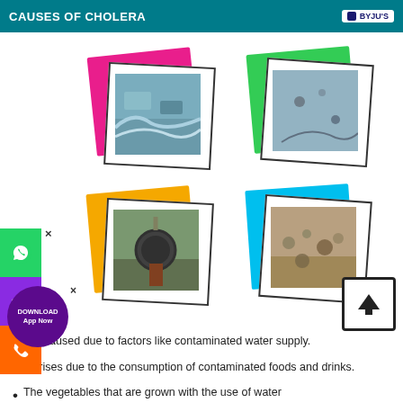CAUSES OF CHOLERA
[Figure (photo): Four framed photos showing causes of cholera: contaminated water supply (pink frame), dirty water (green frame), sewage pipe (yellow frame), and contaminated soil/food (blue frame)]
It is caused due to factors like contaminated water supply.
It arises due to the consumption of contaminated foods and drinks.
The vegetables that are grown with the use of water